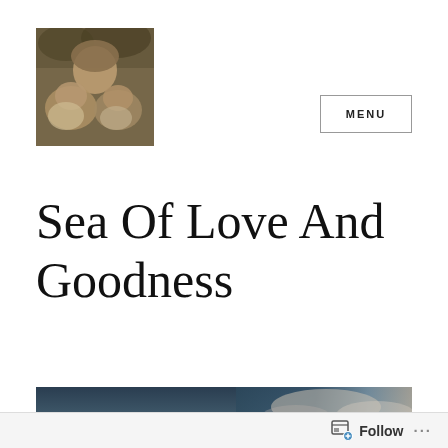[Figure (photo): Sepia-toned photo of a woman embracing two goats or dogs, outdoor setting]
MENU
Sea Of Love And Goodness
[Figure (photo): Wide landscape photo showing dark blue sky and distant hills, partial view]
Follow